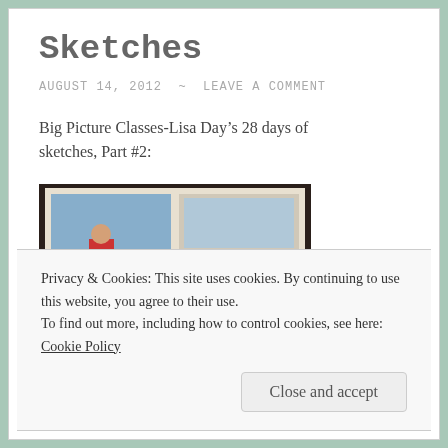Sketches
AUGUST 14, 2012 ~ LEAVE A COMMENT
Big Picture Classes-Lisa Day’s 28 days of sketches, Part #2:
[Figure (photo): A scrapbook page photographed, showing photos of a person in red clothing against blue background, with patterned paper.]
Privacy & Cookies: This site uses cookies. By continuing to use this website, you agree to their use.
To find out more, including how to control cookies, see here: Cookie Policy
Close and accept